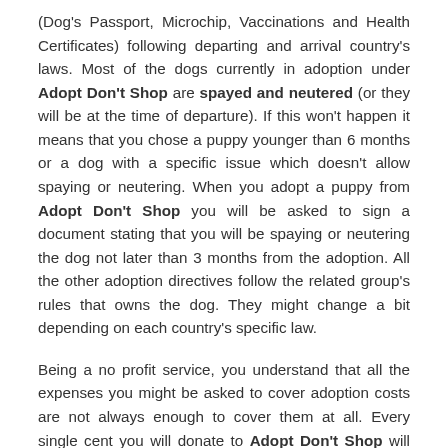(Dog's Passport, Microchip, Vaccinations and Health Certificates) following departing and arrival country's laws. Most of the dogs currently in adoption under Adopt Don't Shop are spayed and neutered (or they will be at the time of departure). If this won't happen it means that you chose a puppy younger than 6 months or a dog with a specific issue which doesn't allow spaying or neutering. When you adopt a puppy from Adopt Don't Shop you will be asked to sign a document stating that you will be spaying or neutering the dog not later than 3 months from the adoption. All the other adoption directives follow the related group's rules that owns the dog. They might change a bit depending on each country's specific law.
Being a no profit service, you understand that all the expenses you might be asked to cover adoption costs are not always enough to cover them at all. Every single cent you will donate to Adopt Don't Shop will be used